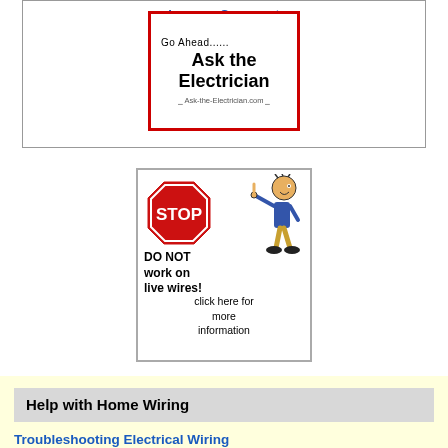Leave a Comment
[Figure (illustration): Ask the Electrician advertisement box with red border. Text reads: Go Ahead...... Ask the Electrician. URL: Ask-the-Electrician.com]
[Figure (illustration): Safety warning image with red STOP octagon sign, cartoon figure pointing upward, text: DO NOT work on live wires! click here for more information]
Help with Home Wiring
Troubleshooting Electrical Wiring